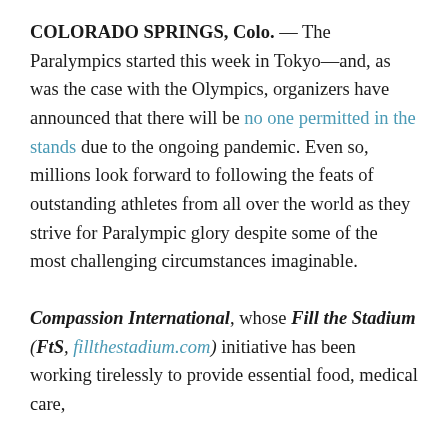COLORADO SPRINGS, Colo. — The Paralympics started this week in Tokyo—and, as was the case with the Olympics, organizers have announced that there will be no one permitted in the stands due to the ongoing pandemic. Even so, millions look forward to following the feats of outstanding athletes from all over the world as they strive for Paralympic glory despite some of the most challenging circumstances imaginable.
Compassion International, whose Fill the Stadium (FtS, fillthestadium.com) initiative has been working tirelessly to provide essential food, medical care,